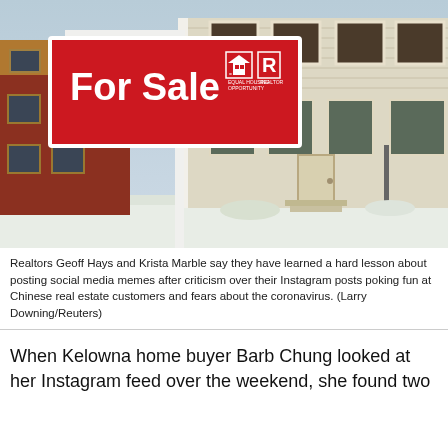[Figure (photo): A red 'For Sale' real estate sign with equal housing and Realtor logos in front of a suburban home with snow on the ground. A white post holds the sign. Houses visible in background.]
Realtors Geoff Hays and Krista Marble say they have learned a hard lesson about posting social media memes after criticism over their Instagram posts poking fun at Chinese real estate customers and fears about the coronavirus. (Larry Downing/Reuters)
When Kelowna home buyer Barb Chung looked at her Instagram feed over the weekend, she found two